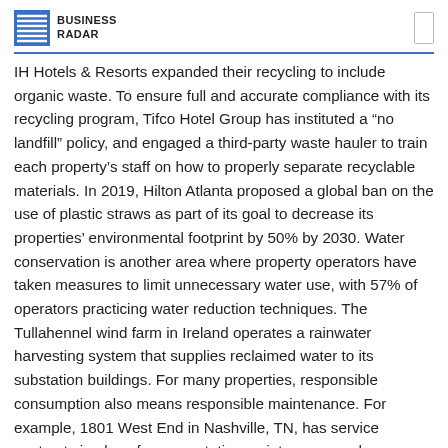BUSINESS RADAR
IH Hotels & Resorts expanded their recycling to include organic waste. To ensure full and accurate compliance with its recycling program, Tifco Hotel Group has instituted a "no landfill" policy, and engaged a third-party waste hauler to train each property's staff on how to properly separate recyclable materials. In 2019, Hilton Atlanta proposed a global ban on the use of plastic straws as part of its goal to decrease its properties' environmental footprint by 50% by 2030. Water conservation is another area where property operators have taken measures to limit unnecessary water use, with 57% of operators practicing water reduction techniques. The Tullahennel wind farm in Ireland operates a rainwater harvesting system that supplies reclaimed water to its substation buildings. For many properties, responsible consumption also means responsible maintenance. For example, 1801 West End in Nashville, TN, has service contracts in place for preventative maintenance and inspection of the property's chiller, air compressor, generator, and